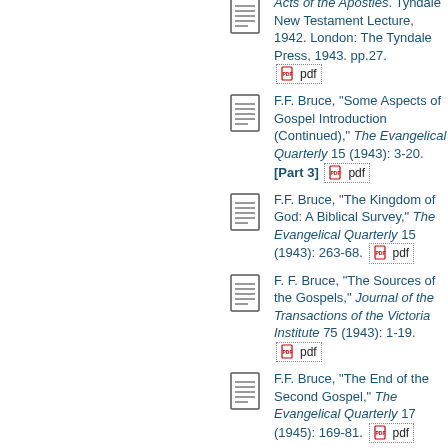F.F. Bruce, The Speeches in the Acts of the Apostles. Tyndale New Testament Lecture, 1942. London: The Tyndale Press, 1943. pp.27. [pdf]
F.F. Bruce, "Some Aspects of Gospel Introduction (Continued)," The Evangelical Quarterly 15 (1943): 3-20. [Part 3] [pdf]
F.F. Bruce, "The Kingdom of God: A Biblical Survey," The Evangelical Quarterly 15 (1943): 263-68. [pdf]
F. F. Bruce, "The Sources of the Gospels," Journal of the Transactions of the Victoria Institute 75 (1943): 1-19. [pdf]
F.F. Bruce, "The End of the Second Gospel," The Evangelical Quarterly 17 (1945): 169-81. [pdf]
F.F. Bruce, "The Origin of the Alphabet," Journal of the Transactions of the Victoria Institute